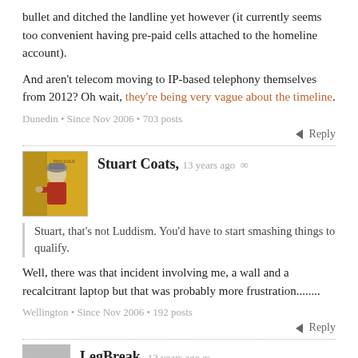bullet and ditched the landline yet however (it currently seems too convenient having pre-paid cells attached to the homeline account).
And aren't telecom moving to IP-based telephony themselves from 2012? Oh wait, they're being very vague about the timeline.
Dunedin • Since Nov 2006 • 703 posts
Reply
Stuart Coats, 13 years ago
[Figure (photo): Avatar photo of Stuart Coats showing a person in red shirt near a yellow door/cabinet]
Stuart, that's not Luddism. You'd have to start smashing things to qualify.
Well, there was that incident involving me, a wall and a recalcitrant laptop but that was probably more frustration........
Wellington • Since Nov 2006 • 192 posts
Reply
LegBreak, 13 years ago